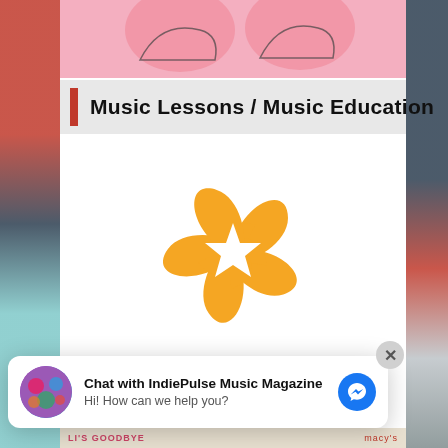[Figure (screenshot): Top banner with pink background showing www.indieartistsrule.com URL text, partial illustration of shoes/heels visible]
Music Lessons / Music Education
[Figure (logo): Orange star/flower logo mark for Music House Call]
Music House Call
Chat with IndiePulse Music Magazine
Hi! How can we help you?
[Figure (screenshot): Bottom strip showing LI'S GOODBYE text and macy's branding]